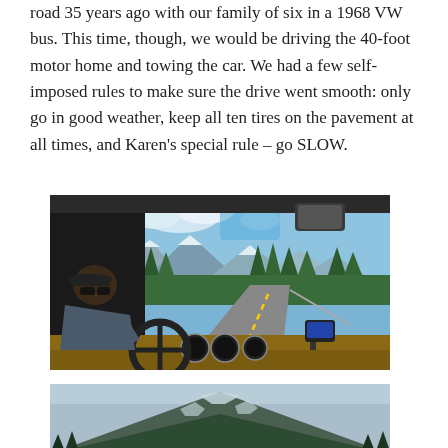road 35 years ago with our family of six in a 1968 VW bus. This time, though, we would be driving the 40-foot motor home and towing the car. We had a few self-imposed rules to make sure the drive went smooth: only go in good weather, keep all ten tires on the pavement at all times, and Karen's special rule – go SLOW.
[Figure (photo): View from inside a motorhome cab showing a person driving through a mountain road with evergreen trees and mountain peaks visible through the windshield.]
[Figure (photo): Outdoor photograph of a large mountain with snow patches, covered in dark evergreen forest, against a hazy sky.]